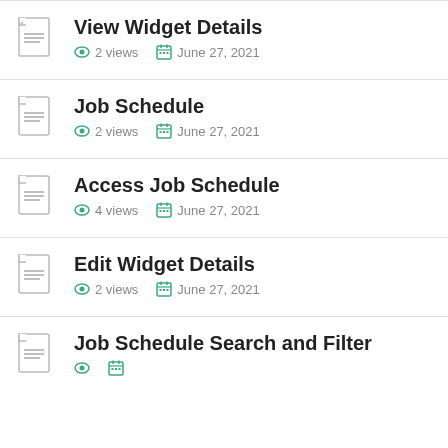View Widget Details — 2 views, June 27, 2021
Job Schedule — 2 views, June 27, 2021
Access Job Schedule — 4 views, June 27, 2021
Edit Widget Details — 2 views, June 27, 2021
Job Schedule Search and Filter